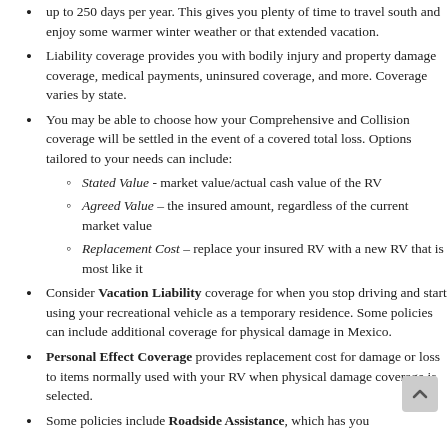up to 250 days per year. This gives you plenty of time to travel south and enjoy some warmer winter weather or that extended vacation.
Liability coverage provides you with bodily injury and property damage coverage, medical payments, uninsured coverage, and more. Coverage varies by state.
You may be able to choose how your Comprehensive and Collision coverage will be settled in the event of a covered total loss. Options tailored to your needs can include: Stated Value - market value/actual cash value of the RV; Agreed Value – the insured amount, regardless of the current market value; Replacement Cost – replace your insured RV with a new RV that is most like it
Consider Vacation Liability coverage for when you stop driving and start using your recreational vehicle as a temporary residence. Some policies can include additional coverage for physical damage in Mexico.
Personal Effect Coverage provides replacement cost for damage or loss to items normally used with your RV when physical damage coverage is selected.
Some policies include Roadside Assistance, which has you